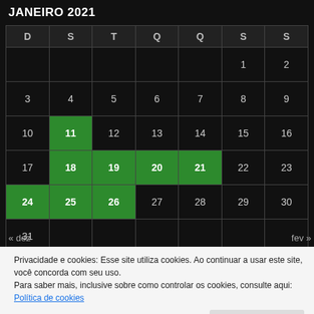JANEIRO 2021
| D | S | T | Q | Q | S | S |
| --- | --- | --- | --- | --- | --- | --- |
|  |  |  |  |  | 1 | 2 |
| 3 | 4 | 5 | 6 | 7 | 8 | 9 |
| 10 | 11 | 12 | 13 | 14 | 15 | 16 |
| 17 | 18 | 19 | 20 | 21 | 22 | 23 |
| 24 | 25 | 26 | 27 | 28 | 29 | 30 |
| 31 |  |  |  |  |  |  |
« dez   fev »
Privacidade e cookies: Esse site utiliza cookies. Ao continuar a usar este site, você concorda com seu uso.
Para saber mais, inclusive sobre como controlar os cookies, consulte aqui:
Política de cookies
Fechar e aceitar